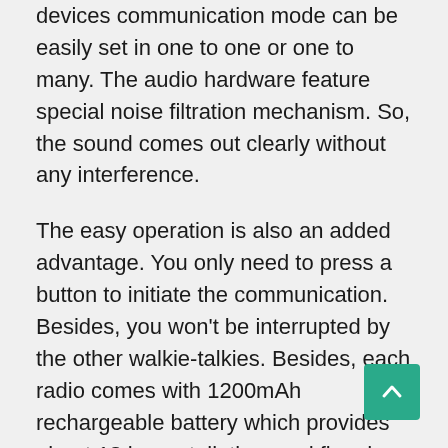devices communication mode can be easily set in one to one or one to many. The audio hardware feature special noise filtration mechanism. So, the sound comes out clearly without any interference.
The easy operation is also an added advantage. You only need to press a button to initiate the communication. Besides, you won't be interrupted by the other walkie-talkies. Besides, each radio comes with 1200mAh rechargeable battery which provides about 18 hours talk time and five days standby mode. It can be one of the best walkie-talkies to gift to a person either adult or kid since it possesses fully functional features and not just a toy.
Related Posts